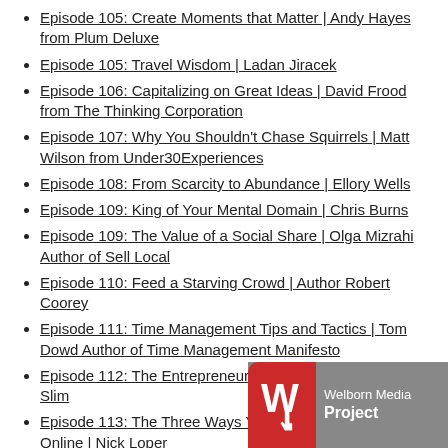Episode 105: Create Moments that Matter | Andy Hayes from Plum Deluxe
Episode 105: Travel Wisdom | Ladan Jiracek
Episode 106: Capitalizing on Great Ideas | David Frood from The Thinking Corporation
Episode 107: Why You Shouldn't Chase Squirrels | Matt Wilson from Under30Experiences
Episode 108: From Scarcity to Abundance | Ellory Wells
Episode 109: King of Your Mental Domain | Chris Burns
Episode 109: The Value of a Social Share | Olga Mizrahi Author of Sell Local
Episode 110: Feed a Starving Crowd | Author Robert Coorey
Episode 111: Time Management Tips and Tactics | Tom Dowd Author of Time Management Manifesto
Episode 112: The Entrepreneurial Work Mode | Pamela Slim
Episode 113: The Three Ways You Can Make Money Online | Nick Loper
Episode 114: Follow Through on Yo... Torre
[Figure (logo): Welborn Media Project logo — red rounded square with white W icon and cursor hand, gray background with white text reading Welborn Media Project]